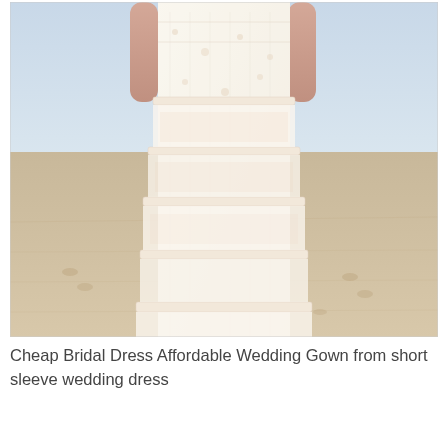[Figure (photo): A woman wearing a tiered lace bridal gown standing on a sandy beach. The dress is white/cream with multiple lace tiers forming the skirt. The background shows a light blue sky and sandy beach. Only the torso and skirt of the model are visible, not the face.]
Cheap Bridal Dress Affordable Wedding Gown from short sleeve wedding dress